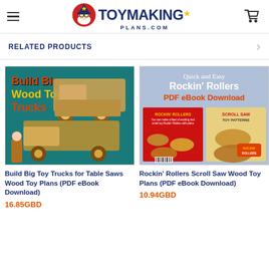ToyMakingPlans.com
RELATED PRODUCTS
[Figure (photo): Book cover image: Build Big Wood Toy Trucks with wooden toy trucks on teal background]
Build Big Toy Trucks for Table Saws Wood Toy Plans (PDF eBook Download)
16.85GBD
[Figure (photo): Book cover image: Quick and Easy Rockin' Rollers PDF eBook Download with scroll saw toy patterns]
Rockin' Rollers Scroll Saw Wood Toy Plans (PDF eBook Download)
10.94GBD